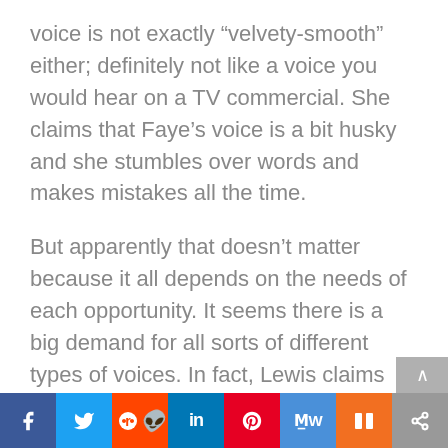voice is not exactly “velvety-smooth” either; definitely not like a voice you would hear on a TV commercial. She claims that Faye’s voice is a bit husky and she stumbles over words and makes mistakes all the time.
But apparently that doesn’t matter because it all depends on the needs of each opportunity. It seems there is a big demand for all sorts of different types of voices. In fact, Lewis claims that the more unique your voice is, the more unusual it